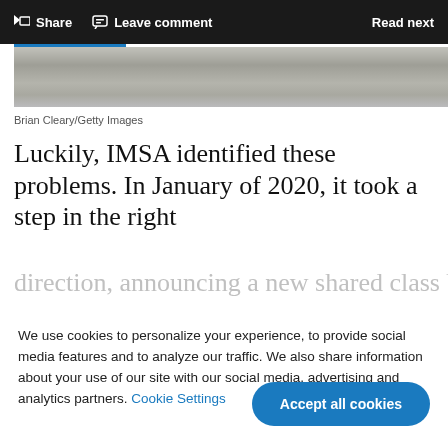Share   Leave comment   Read next
[Figure (photo): Partial photo of a wooden surface or road, cropped at top — gray-brown texture stripe]
Brian Cleary/Getty Images
Luckily, IMSA identified these problems. In January of 2020, it took a step in the right direction, announcing a new shared class between
We use cookies to personalize your experience, to provide social media features and to analyze our traffic. We also share information about your use of our site with our social media, advertising and analytics partners. Cookie Settings
Accept all cookies